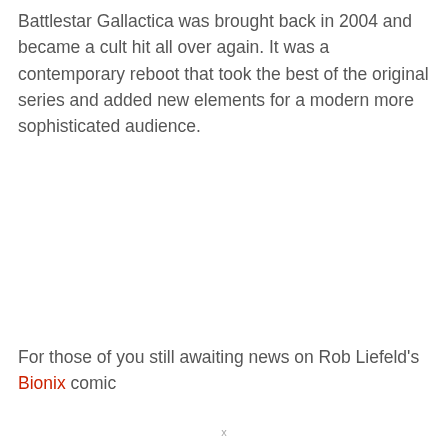Battlestar Gallactica was brought back in 2004 and became a cult hit all over again. It was a contemporary reboot that took the best of the original series and added new elements for a modern more sophisticated audience.
For those of you still awaiting news on Rob Liefeld's Bionix comic